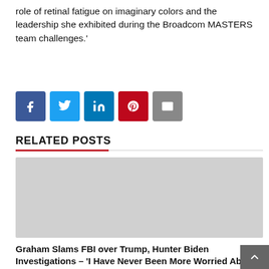role of retinal fatigue on imaginary colors and the leadership she exhibited during the Broadcom MASTERS team challenges.'
[Figure (infographic): Social media share buttons: Facebook (blue), Twitter (light blue), LinkedIn (dark blue), Pinterest (red), Email (gray)]
RELATED POSTS
[Figure (photo): Gray placeholder image for related post thumbnail]
Graham Slams FBI over Trump, Hunter Biden Investigations – 'I Have Never Been More Worried About the Law and Politics'
STATION GOSSIP  August 29, 2022